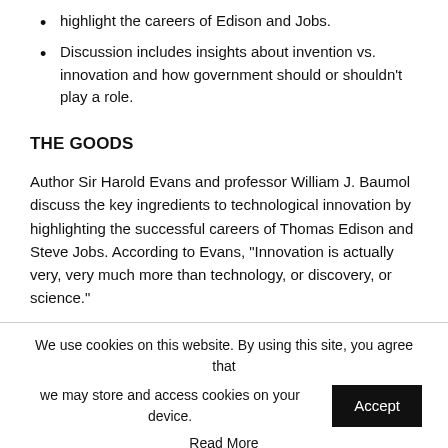highlight the careers of Edison and Jobs.
Discussion includes insights about invention vs. innovation and how government should or shouldn't play a role.
THE GOODS
Author Sir Harold Evans and professor William J. Baumol discuss the key ingredients to technological innovation by highlighting the successful careers of Thomas Edison and Steve Jobs. According to Evans, "Innovation is actually very, very much more than technology, or discovery, or science."
We use cookies on this website. By using this site, you agree that we may store and access cookies on your device.
Accept
Read More